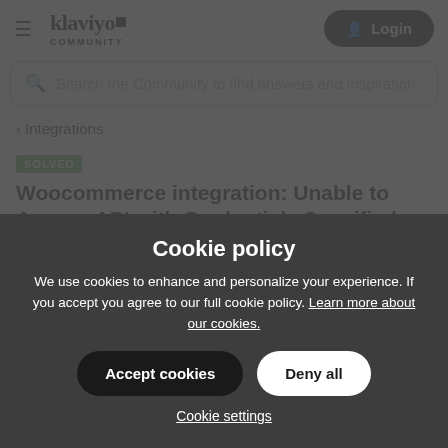klaviyo COMMUNITY — Login
Search the Community to find answers and inspiration
< Integrations
SOLVED
Woocommerce integration: Unable to Access API with Credentials Specified
Mar
Hi,
I'm having issue with the integration of my WooCommerce with Klaviyo.
Cookie policy
We use cookies to enhance and personalize your experience. If you accept you agree to our full cookie policy. Learn more about our cookies.
Accept cookies
Deny all
Cookie settings